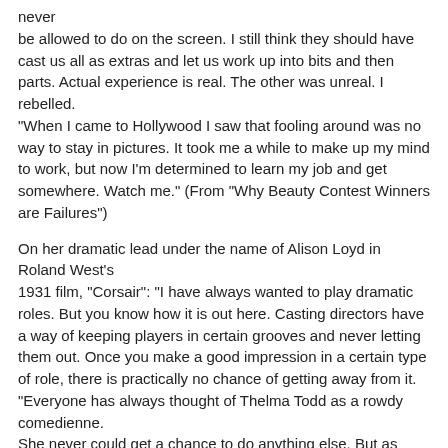never be allowed to do on the screen. I still think they should have cast us all as extras and let us work up into bits and then parts. Actual experience is real. The other was unreal. I rebelled. "When I came to Hollywood I saw that fooling around was no way to stay in pictures. It took me a while to make up my mind to work, but now I'm determined to learn my job and get somewhere. Watch me." (From "Why Beauty Contest Winners are Failures")
On her dramatic lead under the name of Alison Loyd in Roland West's 1931 film, "Corsair": "I have always wanted to play dramatic roles. But you know how it is out here. Casting directors have a way of keeping players in certain grooves and never letting them out. Once you make a good impression in a certain type of role, there is practically no chance of getting away from it. "Everyone has always thought of Thelma Todd as a rowdy comedienne. She never could get a chance to do anything else. But as Alison Loyd I at least have a chance of being dissociated from my past roles. "If I happen to score a success in 'Corsair,' I am sure my new name will identify me with dramatic roles. Yet, even after establishing myself as a dramatic actress, should a comedy role come along that I